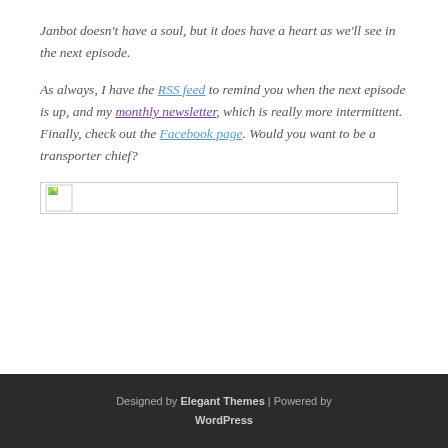Janbot doesn't have a soul, but it does have a heart as we'll see in the next episode.
As always, I have the RSS feed to remind you when the next episode is up, and my monthly newsletter, which is really more intermittent. Finally, check out the Facebook page. Would you want to be a transporter chief?
[Figure (other): A broken/placeholder image thumbnail shown as a small icon inside a wide bordered rectangle]
Designed by Elegant Themes | Powered by WordPress